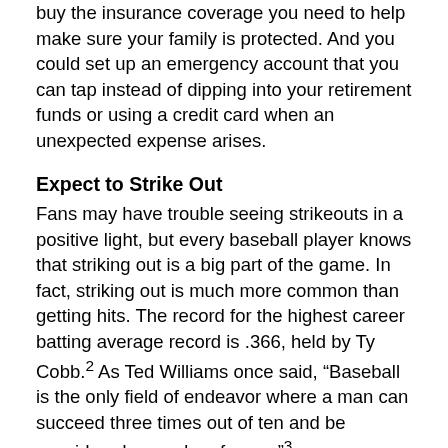buy the insurance coverage you need to help make sure your family is protected. And you could set up an emergency account that you can tap instead of dipping into your retirement funds or using a credit card when an unexpected expense arises.
Expect to Strike Out
Fans may have trouble seeing strikeouts in a positive light, but every baseball player knows that striking out is a big part of the game. In fact, striking out is much more common than getting hits. The record for the highest career batting average record is .366, held by Ty Cobb.2 As Ted Williams once said, “Baseball is the only field of endeavor where a man can succeed three times out of ten and be considered a good performer.”3
So how does this apply to your finances? As Hank Aaron put it, “Failure is a part of success.”4 If you’re prepared for the misses as well as the hits, you can avoid reacting emotionally rather than rationally when things don’t work out according to plan. For example, when investing, you